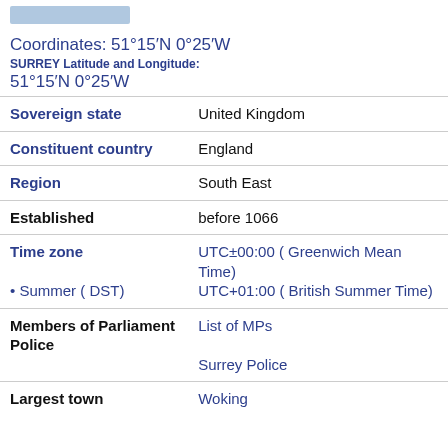[Figure (map): Map image placeholder at top of page]
Coordinates: 51°15′N 0°25′W
SURREY Latitude and Longitude:
51°15′N 0°25′W
| Sovereign state | United Kingdom |
| Constituent country | England |
| Region | South East |
| Established | before 1066 |
| Time zone
• Summer ( DST) | UTC±00:00 ( Greenwich Mean Time)
UTC+01:00 ( British Summer Time) |
| Members of Parliament
Police | List of MPs
Surrey Police |
| Largest town | Woking |